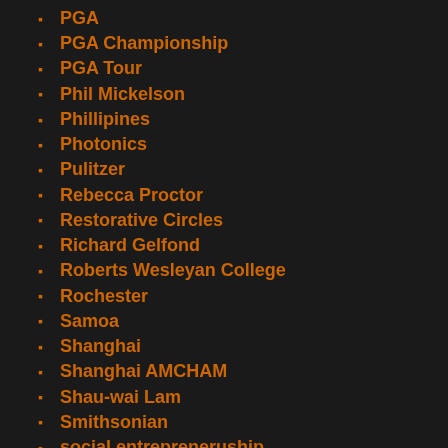PGA
PGA Championship
PGA Tour
Phil Mickelson
Phillipines
Photonics
Pulitzer
Rebecca Proctor
Restorative Circles
Richard Gelfond
Roberts Wesleyan College
Rochester
Samoa
Shanghai
Shanghai AMCHAM
Shau-wai Lam
Smithsonian
social entrepreneruship
social entrepreneurship
Social Equity
solar power